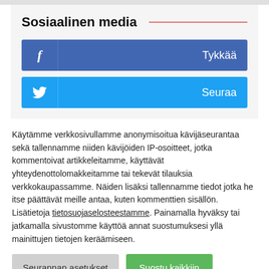Sosiaalinen media
[Figure (screenshot): Facebook Like button (blue, with f icon and 'Tykkää' label)]
[Figure (screenshot): Twitter Follow button (light blue, with bird icon and 'Seuraa' label)]
Käytämme verkkosivullamme anonymisoitua kävijäseurantaa sekä tallennamme niiden kävijöiden IP-osoitteet, jotka kommentoivat artikkeleitamme, käyttävät yhteydenottolomakkeitamme tai tekevät tilauksia verkkokaupassamme. Näiden lisäksi tallennamme tiedot jotka he itse päättävät meille antaa, kuten kommenttien sisällön. Lisätietoja tietosuojaselosteestamme. Painamalla hyväksy tai jatkamalla sivustomme käyttöä annat suostumuksesi yllä mainittujen tietojen keräämiseen.
Seurannan asetukset
Suostu kaikkiin